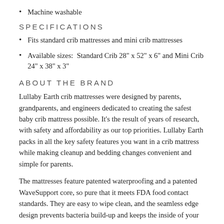Machine washable
SPECIFICATIONS
Fits standard crib mattresses and mini crib mattresses
Available sizes:  Standard Crib 28" x 52" x 6" and Mini Crib 24" x 38" x 3"
ABOUT THE BRAND
Lullaby Earth crib mattresses were designed by parents, grandparents, and engineers dedicated to creating the safest baby crib mattress possible. It's the result of years of research, with safety and affordability as our top priorities. Lullaby Earth packs in all the key safety features you want in a crib mattress while making cleanup and bedding changes convenient and simple for parents.
The mattresses feature patented waterproofing and a patented WaveSupport core, so pure that it meets FDA food contact standards. They are easy to wipe clean, and the seamless edge design prevents bacteria build-up and keeps the inside of your